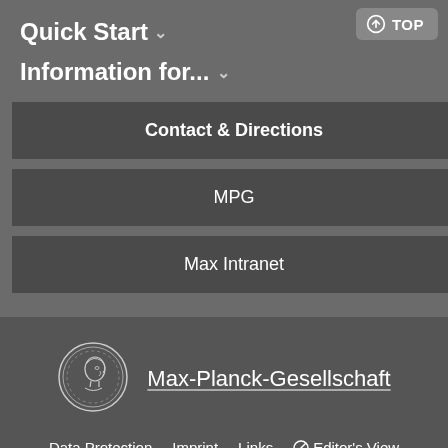Quick Start ∨
Information for... ∨
Contact & Directions
MPG
Max Intranet
[Figure (logo): Max-Planck-Gesellschaft circular coin/medal logo with a profile portrait]
Max-Planck-Gesellschaft
Data Protection   Imprint   Links   ⊘ Editor's View
© 2022, Max-Planck-Gesellschaft